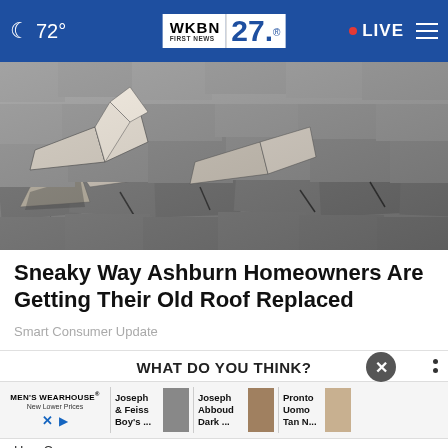72° WKBN FIRST NEWS 27 LIVE
[Figure (photo): Close-up photo of damaged, curling, and cracked asphalt roof shingles in black and white tones]
Sneaky Way Ashburn Homeowners Are Getting Their Old Roof Replaced
Smart Consumer Update
WHAT DO YOU THINK?
[Figure (screenshot): Advertisement banner for Men's Wearhouse showing Joseph Feiss Boy's, Joseph Abboud Dark, and Pronto Uomo Tan N... suit options with male model images]
How C